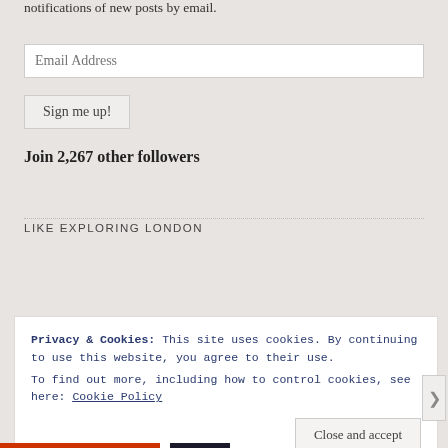notifications of new posts by email.
Email Address
Sign me up!
Join 2,267 other followers
LIKE EXPLORING LONDON
Privacy & Cookies: This site uses cookies. By continuing to use this website, you agree to their use.
To find out more, including how to control cookies, see here: Cookie Policy
Close and accept